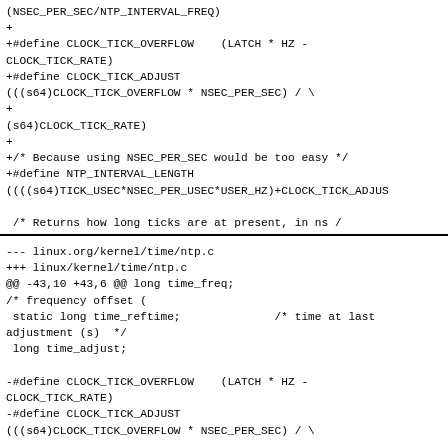(NSEC_PER_SEC/NTP_INTERVAL_FREQ)
+
+#define CLOCK_TICK_OVERFLOW    (LATCH * HZ -
CLOCK_TICK_RATE)
+#define CLOCK_TICK_ADJUST
(((s64)CLOCK_TICK_OVERFLOW * NSEC_PER_SEC) / \
+
(s64)CLOCK_TICK_RATE)
+
+/* Because using NSEC_PER_SEC would be too easy */
+#define NTP_INTERVAL_LENGTH
((((s64)TICK_USEC*NSEC_PER_USEC*USER_HZ)+CLOCK_TICK_ADJUS

 /* Returns how long ticks are at present, in ns /
2^(SHIFT_SCALE-10). */
 extern u64 current_tick_length(void);
Index: linux/kernel/time/ntp.c
=======================================================...
--- linux.org/kernel/time/ntp.c
+++ linux/kernel/time/ntp.c
@@ -43,10 +43,6 @@ long time_freq;
/* frequency offset (
 static long time_reftime;              /* time at last
adjustment (s)  */
 long time_adjust;

-#define CLOCK_TICK_OVERFLOW    (LATCH * HZ -
CLOCK_TICK_RATE)
-#define CLOCK_TICK_ADJUST
(((s64)CLOCK_TICK_OVERFLOW * NSEC_PER_SEC) / \